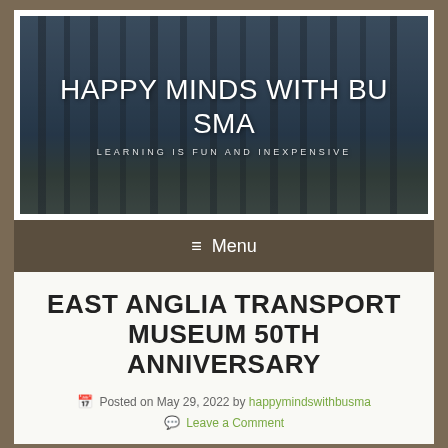[Figure (photo): Website banner with forest/trees background image in dark blue-gray tones]
HAPPY MINDS WITH BUSMA
LEARNING IS FUN AND INEXPENSIVE
≡ Menu
EAST ANGLIA TRANSPORT MUSEUM 50TH ANNIVERSARY
Posted on May 29, 2022 by happymindswithbusma
Leave a Comment